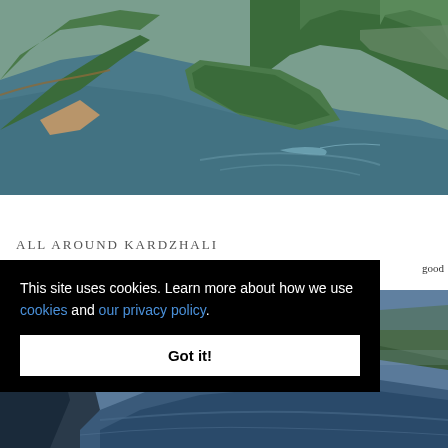[Figure (photo): Aerial view of a winding reservoir or river with forested green hills and peninsulas, blue-grey water, and distant countryside. A boat wake is visible on the water surface.]
ALL AROUND KARDZHALI
When you look around you can see that there is a good
[Figure (photo): Aerial or elevated view of a landscape near Kardzhali, with mountains, water reservoir and cliffs visible in blue tones.]
This site uses cookies. Learn more about how we use cookies and our privacy policy.
Got it!